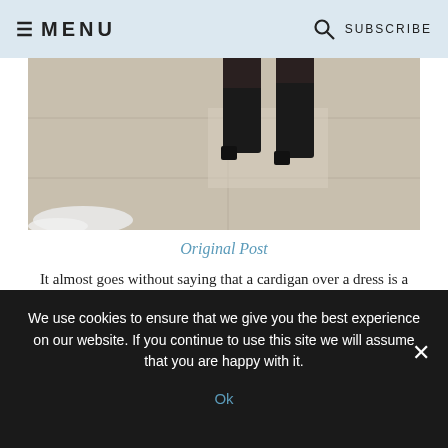≡ MENU    🔍 SUBSCRIBE
[Figure (photo): Close-up photo of person's feet and lower legs wearing black ankle boots, standing on a beige/tan concrete surface. Some white fabric visible at bottom left.]
Original Post
It almost goes without saying that a cardigan over a dress is a great way to style it in the winter. I love the feminine styling of a cascade cardigan and it can be worn with so many things! Here I am wearing it with a skirt, but it could easily be styled with a dress. The one I am wearing is sold out, but this cardigan from Loft is very similar
We use cookies to ensure that we give you the best experience on our website. If you continue to use this site we will assume that you are happy with it. Ok